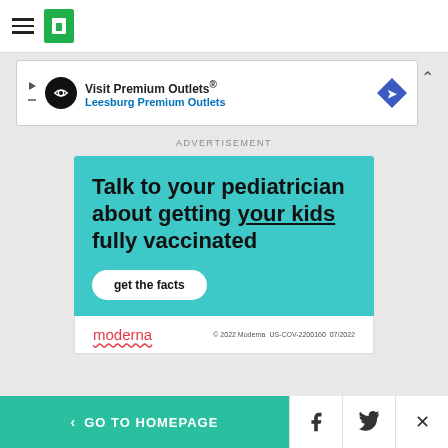HuffPost navigation header with hamburger menu and logo
[Figure (screenshot): Visit Premium Outlets® / Leesburg Premium Outlets advertisement banner]
ADVERTISEMENT
[Figure (infographic): Moderna vaccine advertisement: 'Talk to your pediatrician about getting your kids fully vaccinated' with 'get the facts' button, teal background, and Moderna logo with © 2022 Moderna US-COV-2200160 07/2022]
< GO TO HOMEPAGE | Facebook | Twitter | X (close)